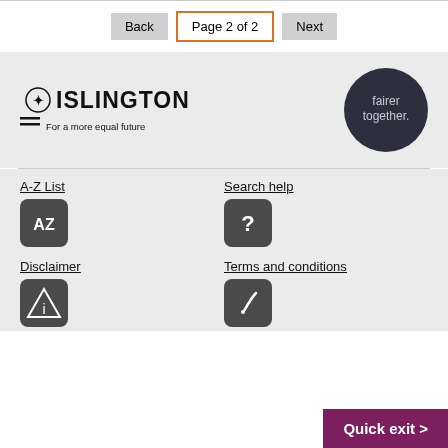Back  Page 2 of 2  Next
[Figure (logo): Islington Council logo with crest, text ISLINGTON, tagline 'For a more equal future']
[Figure (logo): fairer together. circular dark logo]
A-Z List
[Figure (illustration): AZ icon button]
Search help
[Figure (illustration): Question mark icon button]
Disclaimer
[Figure (illustration): Warning/info triangle icon button]
Terms and conditions
[Figure (illustration): Pen/edit icon button]
Quick exit >